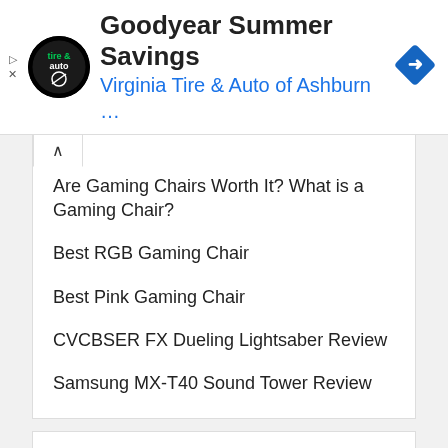[Figure (other): Advertisement banner for Goodyear Summer Savings by Virginia Tire & Auto of Ashburn with logo and navigation arrow icon]
Are Gaming Chairs Worth It? What is a Gaming Chair?
Best RGB Gaming Chair
Best Pink Gaming Chair
CVCBSER FX Dueling Lightsaber Review
Samsung MX-T40 Sound Tower Review
CATEGORIES
Audio
Automotive